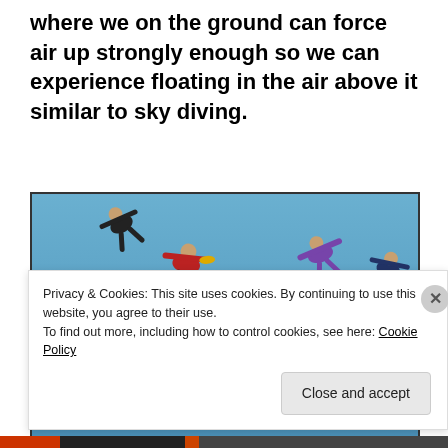where we on the ground can force air up strongly enough so we can experience floating in the air above it similar to sky diving.
[Figure (photo): Group of skydivers in colorful jumpsuits free-falling together against a clear blue sky, forming a loose formation with arms and legs spread out.]
Privacy & Cookies: This site uses cookies. By continuing to use this website, you agree to their use.
To find out more, including how to control cookies, see here: Cookie Policy
Close and accept